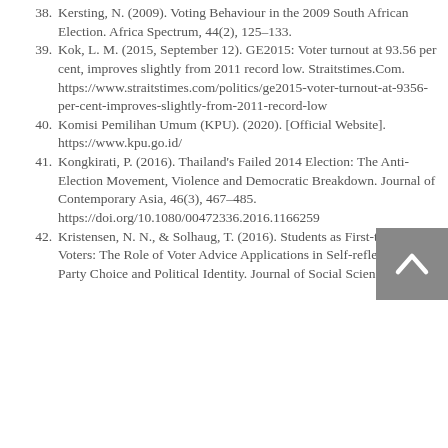38. Kersting, N. (2009). Voting Behaviour in the 2009 South African Election. Africa Spectrum, 44(2), 125–133.
39. Kok, L. M. (2015, September 12). GE2015: Voter turnout at 93.56 per cent, improves slightly from 2011 record low. Straitstimes.Com. https://www.straitstimes.com/politics/ge2015-voter-turnout-at-9356-per-cent-improves-slightly-from-2011-record-low
40. Komisi Pemilihan Umum (KPU). (2020). [Official Website]. https://www.kpu.go.id/
41. Kongkirati, P. (2016). Thailand's Failed 2014 Election: The Anti-Election Movement, Violence and Democratic Breakdown. Journal of Contemporary Asia, 46(3), 467–485. https://doi.org/10.1080/00472336.2016.1166259
42. Kristensen, N. N., & Solhaug, T. (2016). Students as First-time Voters: The Role of Voter Advice Applications in Self-reflection on Party Choice and Political Identity. Journal of Social Science